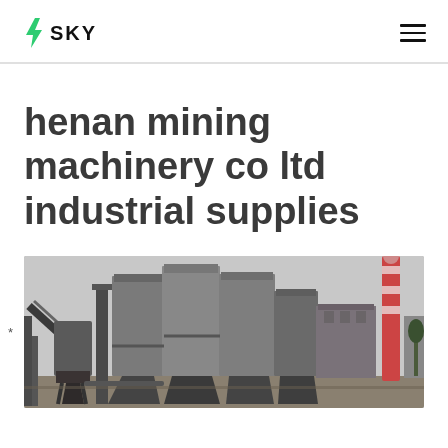SKY (logo with lightning bolt)
henan mining machinery co ltd industrial supplies
[Figure (photo): Industrial mining facility with large metal silos, hoppers, conveyor structures, and a factory chimney in the background. Grey overcast sky.]
*